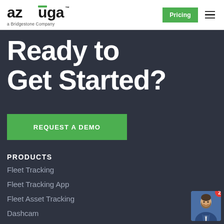[Figure (logo): Azuga logo with green accent bar over the 'u', subtitle 'a Bridgestone Company']
Pricing
Ready to Get Started?
REQUEST A DEMO
PRODUCTS
Fleet Tracking
Fleet Tracking App
Fleet Asset Tracking
Dashcam
eLogs (ELD)
Driver Safety
[Figure (photo): Chat widget with man avatar photo and red notification badge showing 2]